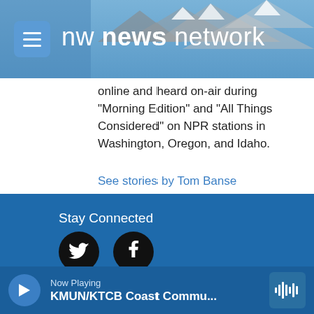nw news network
online and heard on-air during "Morning Edition" and "All Things Considered" on NPR stations in Washington, Oregon, and Idaho.
See stories by Tom Banse
Stay Connected
[Figure (other): Twitter and Facebook social media icons as black circles with white logos]
Now Playing
KMUN/KTCB Coast Commu...